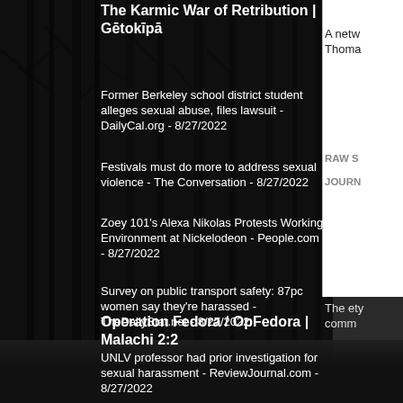The Karmic War of Retribution | Gētokīpā
Former Berkeley school district student alleges sexual abuse, files lawsuit - DailyCal.org - 8/27/2022
Festivals must do more to address sexual violence - The Conversation - 8/27/2022
Zoey 101's Alexa Nikolas Protests Working Environment at Nickelodeon - People.com - 8/27/2022
Survey on public transport safety: 87pc women say they're harassed - TheDailyStar.net - 8/27/2022
UNLV professor had prior investigation for sexual harassment - ReviewJournal.com - 8/27/2022
Operation Fedora / OpFedora | Malachi 2:2
A netw Thoma
RAW S
JOURN
The ety comm